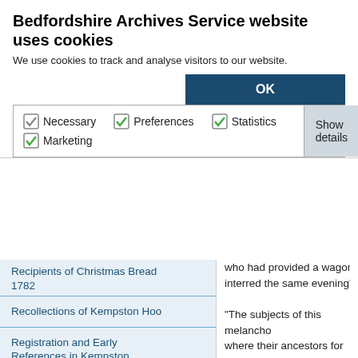Bedfordshire Archives Service website uses cookies
We use cookies to track and analyse visitors to our website.
OK
Necessary  Preferences  Statistics  Marketing  Show details
Recipients of Christmas Bread 1782
Recollections of Kempston Hoo
Registration and Early References in Kempston
Ridgeway School Kempston
Robert Bruce School Kempston
Saint Johns Homes Kempston
Saint Johns Special School and College Kempston
Sources for education in Kempston
Springfield House Asylum
who had provided a wagon, w interred the same evening".
“The subjects of this melancho where their ancestors for more been in respectable circumsta good character for honesty & their charge but what was the towards the demoralising of s disgrace to the country. [We u unfortunate young men, came and whilst they were suspend delivered them at his house a
The public reaction to their de sympathetic towards them an paragraph above shows us wh sport for the richest in society the brothers poached out of n seen, were not of the best (M